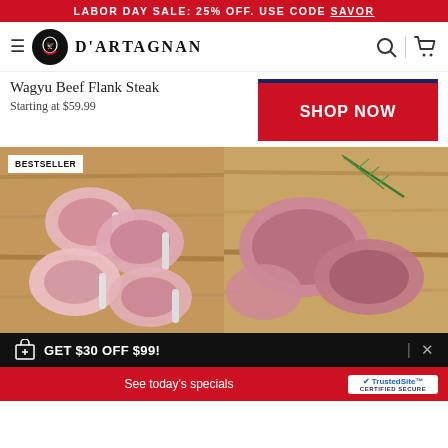LABOR DAY SALE: 25% OFF. USE CODE SAVOR
[Figure (logo): D'Artagnan logo with navigation bar including hamburger menu, circular logo icon, brand name, search icon, and cart icon]
Wagyu Beef Flank Steak
Starting at $59.99
[Figure (screenshot): SHOP NOW red button with dark navy border top]
[Figure (photo): BESTSELLER badge with pork chops on wooden cutting board]
[Figure (photo): Lamb or veal cuts with rosemary sprig on wooden cutting board]
GET $30 OFF $99!
See today's specials